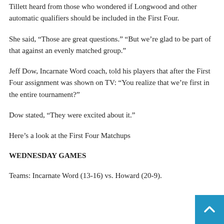Tillett heard from those who wondered if Longwood and other automatic qualifiers should be included in the First Four.
She said, “Those are great questions.” “But we’re glad to be part of that against an evenly matched group.”
Jeff Dow, Incarnate Word coach, told his players that after the First Four assignment was shown on TV: “You realize that we’re first in the entire tournament?”
Dow stated, “They were excited about it.”
Here’s a look at the First Four Matchups
WEDNESDAY GAMES
Teams: Incarnate Word (13-16) vs. Howard (20-9).